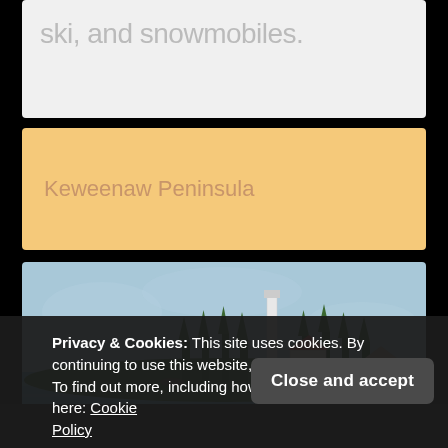ski, and snowmobiles.
Keweenaw Peninsula
[Figure (photo): Coastal landscape with a lighthouse on a forested peninsula surrounded by blue water, with a tall white tower and a building with a red roof visible among the trees.]
Privacy & Cookies: This site uses cookies. By continuing to use this website, you agree to their use.
To find out more, including how to control cookies, see here: Cookie Policy
Close and accept